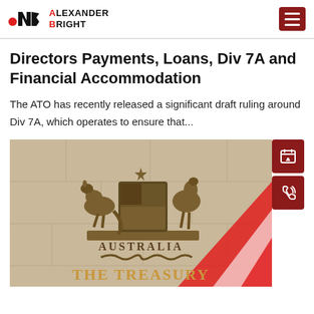ALEXANDER BRIGHT
Directors Payments, Loans, Div 7A and Financial Accommodation
The ATO has recently released a significant draft ruling around Div 7A, which operates to ensure that...
[Figure (photo): Photo of the Australian Treasury building exterior showing the bronze Australian coat of arms with kangaroo and emu, text 'AUSTRALIA' below, and 'THE TREASURY' lettering at the bottom, with a diagonal red and white striped design element in the lower right.]